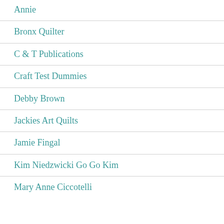Annie
Bronx Quilter
C & T Publications
Craft Test Dummies
Debby Brown
Jackies Art Quilts
Jamie Fingal
Kim Niedzwicki Go Go Kim
Mary Anne Ciccotelli